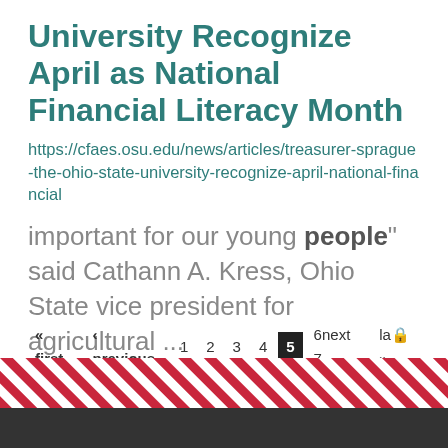University Recognize April as National Financial Literacy Month
https://cfaes.osu.edu/news/articles/treasurer-sprague-the-ohio-state-university-recognize-april-national-financial
important for our young people” said Cathann A. Kress, Ohio State vice president for agricultural ...
« first ‹ previous 1 2 3 4 5 6next 7 last » 9 ...
[Figure (illustration): Diagonal red and white stripe pattern footer decoration with dark gray bar at bottom]